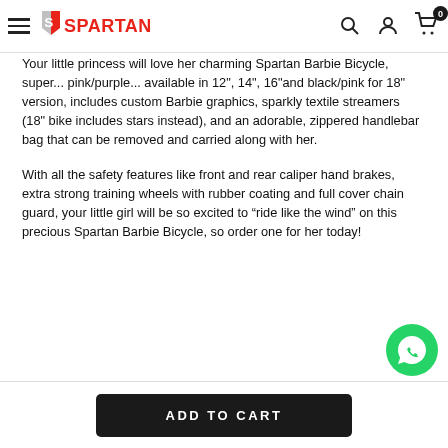Spartan — navigation bar with hamburger menu, logo, search, account, cart (0)
Your little princess will love her charming Spartan Barbie Bicycle. Super... pink/purple... available in 12", 14", 16"and black/pink for 18" version, includes custom Barbie graphics, sparkly textile streamers (18" bike includes stars instead), and an adorable, zippered handlebar bag that can be removed and carried along with her.
With all the safety features like front and rear caliper hand brakes, extra strong training wheels with rubber coating and full cover chain guard, your little girl will be so excited to “ride like the wind” on this precious Spartan Barbie Bicycle, so order one for her today!
ADD TO CART